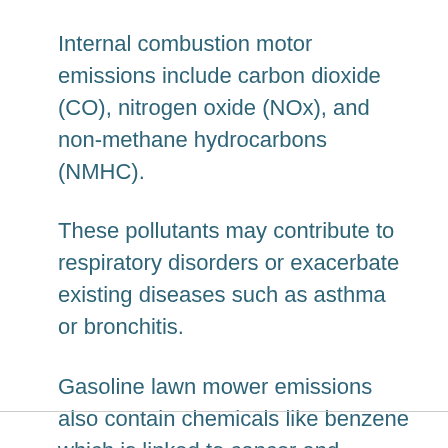Internal combustion motor emissions include carbon dioxide (CO), nitrogen oxide (NOx), and non-methane hydrocarbons (NMHC).
These pollutants may contribute to respiratory disorders or exacerbate existing diseases such as asthma or bronchitis.
Gasoline lawn mower emissions also contain chemicals like benzene which is linked to cancer and toluene which can damage the brain and central nervous system.